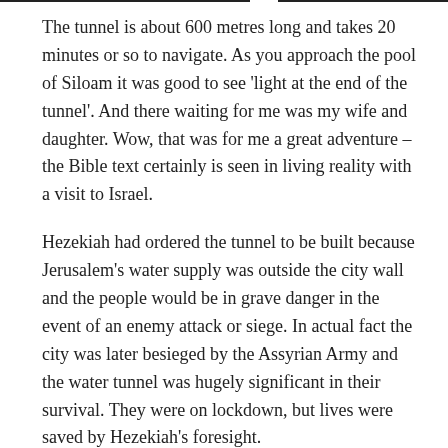The tunnel is about 600 metres long and takes 20 minutes or so to navigate. As you approach the pool of Siloam it was good to see 'light at the end of the tunnel'. And there waiting for me was my wife and daughter. Wow, that was for me a great adventure – the Bible text certainly is seen in living reality with a visit to Israel.
Hezekiah had ordered the tunnel to be built because Jerusalem's water supply was outside the city wall and the people would be in grave danger in the event of an enemy attack or siege. In actual fact the city was later besieged by the Assyrian Army and the water tunnel was hugely significant in their survival. They were on lockdown, but lives were saved by Hezekiah's foresight.
Sometimes we like to blame our politicians for their lack of foresight, perhaps justifiably at times, but this Corona virus lockdown shows that we too need to think ahead. So many of